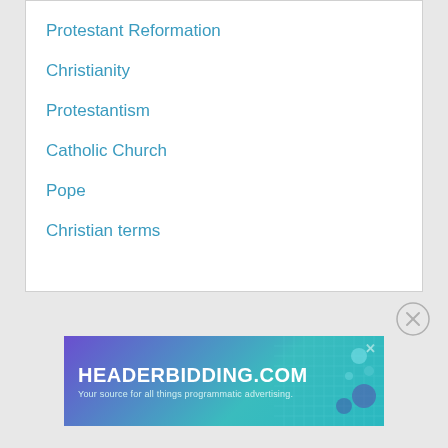Protestant Reformation
Christianity
Protestantism
Catholic Church
Pope
Christian terms
[Figure (other): Close button (circle with X) for dismissing a panel]
[Figure (other): Advertisement banner for HEADERBIDDING.COM with tagline 'Your source for all things programmatic advertising.']